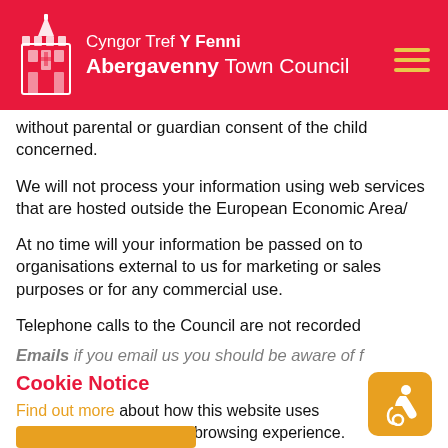Cyngor Tref Y Fenni Abergavenny Town Council
without parental or guardian consent of the child concerned.
We will not process your information using web services that are hosted outside the European Economic Area/
At no time will your information be passed on to organisations external to us for marketing or sales purposes or for any commercial use.
Telephone calls to the Council are not recorded
Emails if you email us you should be aware that
Cookie Notice
Find out more about how this website uses cookies to enhance your browsing experience.